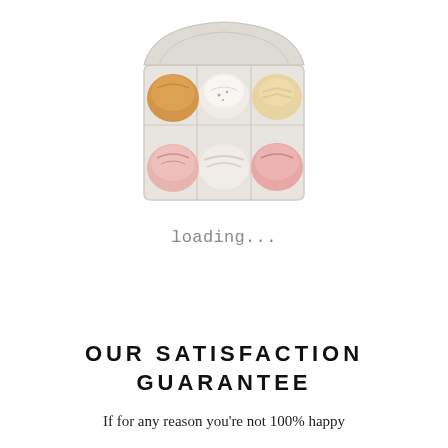[Figure (photo): Six colorful bath bombs arranged in a cardboard egg carton, photographed from above on a white background. Colors include orange, white/cream, pink/rose, and gold/yellow tones.]
loading...
OUR SATISFACTION GUARANTEE
If for any reason you're not 100% happy